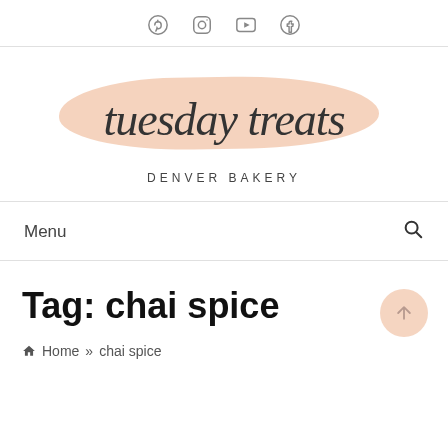Social icons: Pinterest, Instagram, YouTube, Facebook
[Figure (logo): Tuesday Treats Denver Bakery logo with script text on a peach brush stroke background]
Menu
Tag: chai spice
Home » chai spice